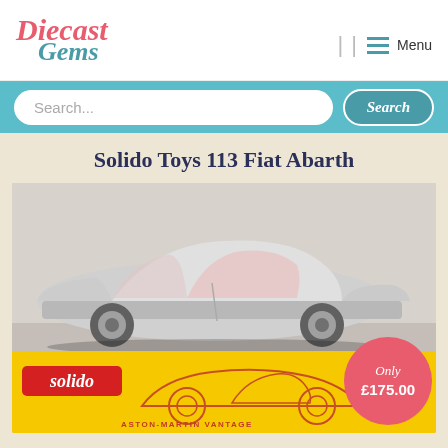[Figure (logo): Diecast Gems logo in pink and teal italic serif font]
[Figure (infographic): Navigation icons and Menu label in top right header]
[Figure (screenshot): Search bar with teal background, rounded white input field, and teal Search button]
Solido Toys 113 Fiat Abarth
[Figure (photo): Silver diecast Solido Aston Martin Vantage model car displayed on top of its yellow Solido box. The car is silver with red interior. A pink price badge reads Only £175.00. The box shows a red outline drawing of the car and the text ASTON-MARTIN VANTAGE.]